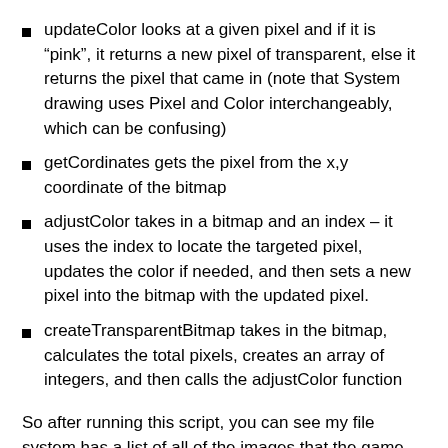updateColor looks at a given pixel and if it is “pink”, it returns a new pixel of transparent, else it returns the pixel that came in (note that System drawing uses Pixel and Color interchangeably, which can be confusing)
getCordinates gets the pixel from the x,y coordinate of the bitmap
adjustColor takes in a bitmap and an index – it uses the index to locate the targeted pixel, updates the color if needed, and then sets a new pixel into the bitmap with the updated pixel.
createTransparentBitmap takes in the bitmap, calculates the total pixels, creates an array of integers, and then calls the adjustColor function
So after running this script, you can see my file system has a list of all of the images that the game needs: